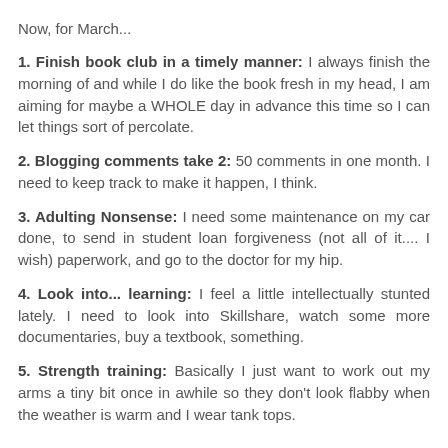Now, for March...
1. Finish book club in a timely manner: I always finish the morning of and while I do like the book fresh in my head, I am aiming for maybe a WHOLE day in advance this time so I can let things sort of percolate.
2. Blogging comments take 2: 50 comments in one month. I need to keep track to make it happen, I think.
3. Adulting Nonsense: I need some maintenance on my car done, to send in student loan forgiveness (not all of it.... I wish) paperwork, and go to the doctor for my hip.
4. Look into... learning: I feel a little intellectually stunted lately. I need to look into Skillshare, watch some more documentaries, buy a textbook, something.
5. Strength training: Basically I just want to work out my arms a tiny bit once in awhile so they don't look flabby when the weather is warm and I wear tank tops.